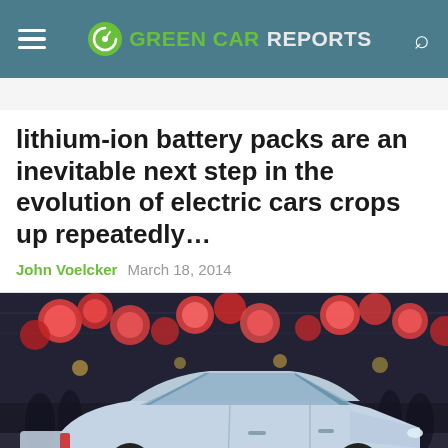GREEN CAR REPORTS
lithium-ion battery packs are an inevitable next step in the evolution of electric cars crops up repeatedly…
John Voelcker   March 18, 2014
[Figure (photo): A silver/light blue electric sedan on display at an auto show, with red globe lights hanging from the ceiling in the background]